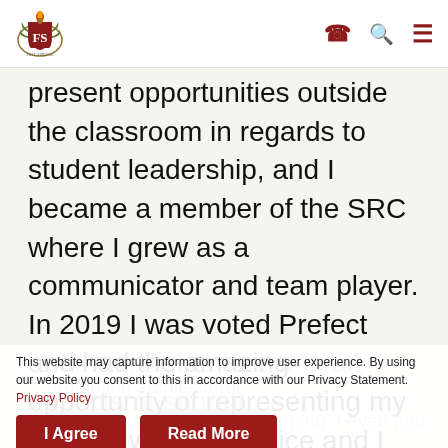[Figure (logo): FS school crest/logo with torch and laurel wreath]
present opportunities outside the classroom in regards to student leadership, and I became a member of the SRC where I grew as a communicator and team player. In 2019 I was voted Prefect and had the amazing opportunity of representing my peers; I was their voice and I relished every chance to make a difference
This website may capture information to improve user experience. By using our website you consent to this in accordance with our Privacy Statement. Privacy Policy
I Agree
Read More